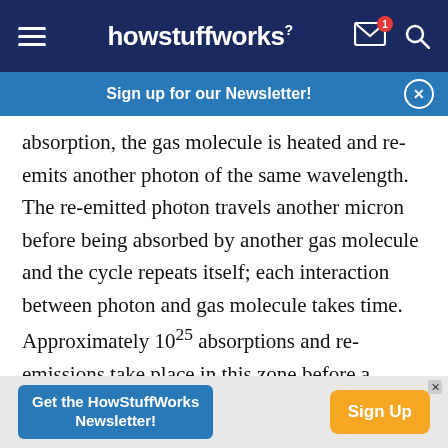howstuffworks
Sign up for our Newsletter!
absorption, the gas molecule is heated and re-emits another photon of the same wavelength. The re-emitted photon travels another micron before being absorbed by another gas molecule and the cycle repeats itself; each interaction between photon and gas molecule takes time. Approximately 10^25 absorptions and re-emissions take place in this zone before a photon reaches the surface, so there is a significant time delay between a photon made in the
Get the HowStuffWorks Newsletter! Sign Up